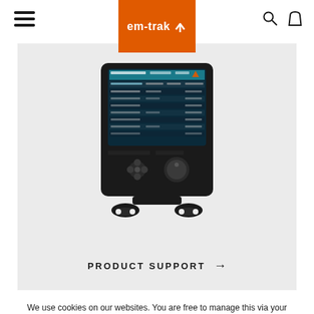em-trak
[Figure (photo): em-trak AIS transponder device with display screen showing vessel list and control buttons, mounted on a stand, photographed against a light gray background]
PRODUCT SUPPORT →
We use cookies on our websites. You are free to manage this via your browser setting at any time. To learn more about how we use the cookies, please see our Privacy Policy
ACCEPT →